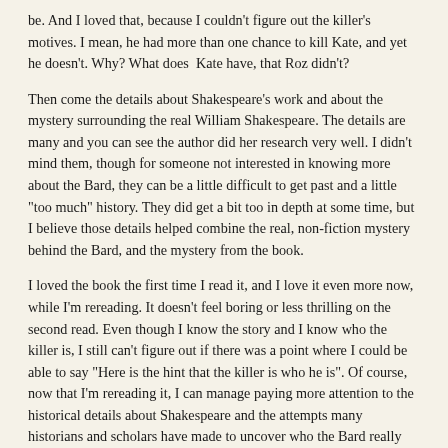be. And I loved that, because I couldn't figure out the killer's motives. I mean, he had more than one chance to kill Kate, and yet he doesn't. Why? What does  Kate have, that Roz didn't?
Then come the details about Shakespeare's work and about the mystery surrounding the real William Shakespeare. The details are many and you can see the author did her research very well. I didn't mind them, though for someone not interested in knowing more about the Bard, they can be a little difficult to get past and a little "too much" history. They did get a bit too in depth at some time, but I believe those details helped combine the real, non-fiction mystery behind the Bard, and the mystery from the book.
I loved the book the first time I read it, and I love it even more now, while I'm rereading. It doesn't feel boring or less thrilling on the second read. Even though I know the story and I know who the killer is, I still can't figure out if there was a point where I could be able to say "Here is the hint that the killer is who he is". Of course, now that I'm rereading it, I can manage paying more attention to the historical details about Shakespeare and the attempts many historians and scholars have made to uncover who the Bard really was.